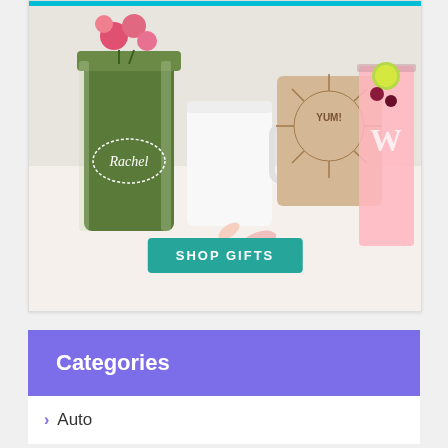[Figure (photo): Advertisement banner showing personalized gifts including a mason jar vase labeled 'Rachel', a white mug, a wooden board with 'YUM!' text, and a pink cocktail drink glass with fruits. A teal 'SHOP GIFTS' button appears at the bottom.]
Categories
Auto